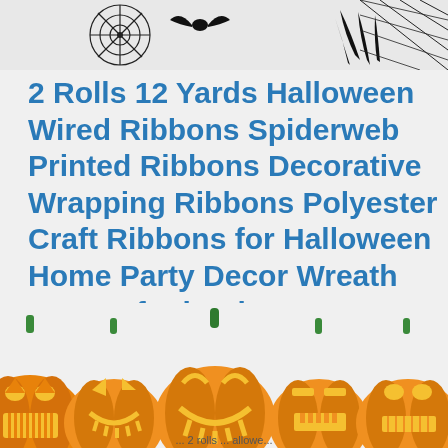[Figure (illustration): Black and white Halloween clip art at top: spider web, bat, hand/claw shapes on light gray background]
2 Rolls 12 Yards Halloween Wired Ribbons Spiderweb Printed Ribbons Decorative Wrapping Ribbons Polyester Craft Ribbons for Halloween Home Party Decor Wreath DIY Craft Floral Bow, 2.5 Inches
[Figure (illustration): Row of five orange jack-o-lantern pumpkins with different carved faces, green stems, at the bottom of the page]
... 2 rolls ... allowe...